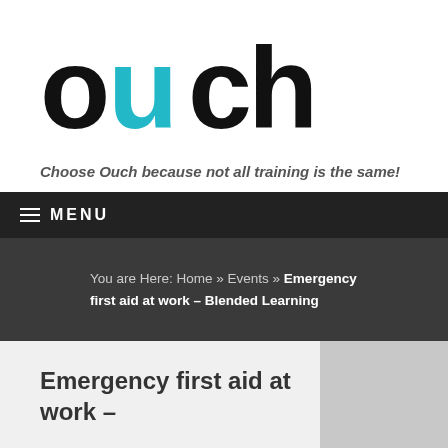[Figure (logo): Ouch logo — stylized text 'ouch' in black with a teal/cyan colored 'u']
Choose Ouch because not all training is the same!
≡ MENU
You are Here: Home » Events » Emergency first aid at work – Blended Learning
Emergency first aid at work –
[Figure (photo): Grey placeholder image area]